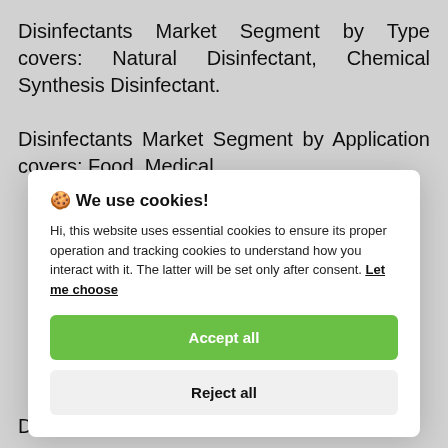Disinfectants Market Segment by Type covers: Natural Disinfectant, Chemical Synthesis Disinfectant.
Disinfectants Market Segment by Application covers: Food, Medical,
[Figure (screenshot): Cookie consent overlay dialog with title '🍪 We use cookies!', body text explaining essential and tracking cookies, a 'Let me choose' link, an 'Accept all' green button, and a 'Reject all' light grey button.]
Disinfectants opportunities and trends